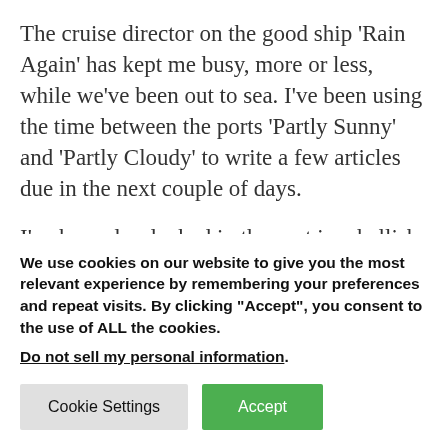The cruise director on the good ship ‘Rain Again’ has kept me busy, more or less, while we’ve been out to sea. I’ve been using the time between the ports ‘Partly Sunny’ and ‘Partly Cloudy’ to write a few articles due in the next couple of days.
I’ve been dry docked in the past in a hellish place called ‘Record Setting Drought’ where we gardeners had little we could do expect wring our
We use cookies on our website to give you the most relevant experience by remembering your preferences and repeat visits. By clicking “Accept”, you consent to the use of ALL the cookies.
Do not sell my personal information.